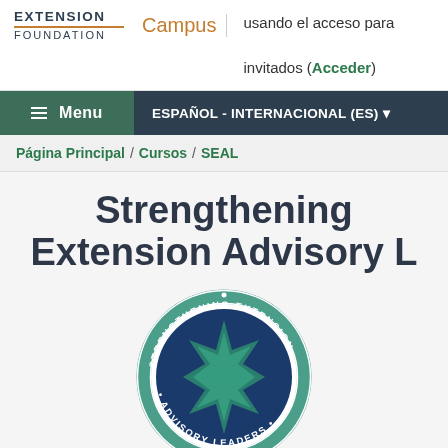EXTENSION FOUNDATION | Campus | usando el acceso para invitados (Acceder)
Menu | ESPAÑOL - INTERNACIONAL (ES)
Página Principal / Cursos / SEAL
Strengthening Extension Advisory L
[Figure (logo): Circular seal logo reading STRENGTHENING EXTENSION ADVISORY LEADERS with star design in dark blue and teal]